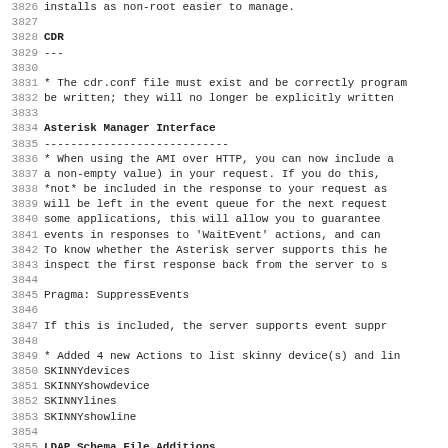3826    installs as non-root easier to manage.
3827
3828 CDR
3829 ---
3830
3831 * The cdr.conf file must exist and be correctly programmed for CDRs to be written; they will no longer be explicitly written...
3833
3834 Asterisk Manager Interface
3835 ----------------------------
3836 * When using the AMI over HTTP, you can now include a special header (with a non-empty value) in your request. ...
3845    Pragma: SuppressEvents
3847    If this is included, the server supports event suppression.
3849 * Added 4 new Actions to list skinny device(s) and lines:
3850    SKINNYdevices
3851    SKINNYshowdevice
3852    SKINNYlines
3853    SKINNYshowline
3854
3855 LDAP Schema File Additions
3856 ----------------------------
3857 * Added AsteriskDialplan, AsteriskAccount and AsteriskMailbox...
3858    to allow standalone dialplan, account and mailbox entries...